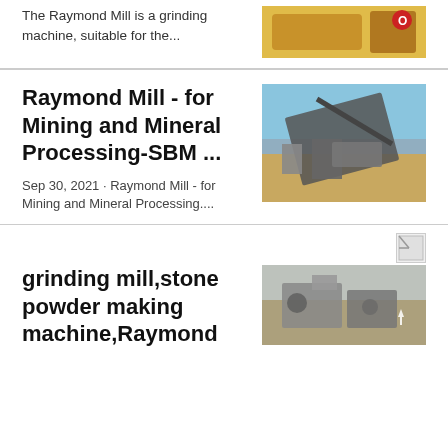The Raymond Mill is a grinding machine, suitable for the...
[Figure (photo): Yellow industrial grinding machine equipment]
Raymond Mill - for Mining and Mineral Processing-SBM ...
[Figure (photo): Large mobile mineral processing machine on a construction site]
Sep 30, 2021 · Raymond Mill - for Mining and Mineral Processing....
[Figure (photo): Small broken image icon placeholder]
grinding mill,stone powder making machine,Raymond
[Figure (photo): Industrial grinding mill machinery outdoors]